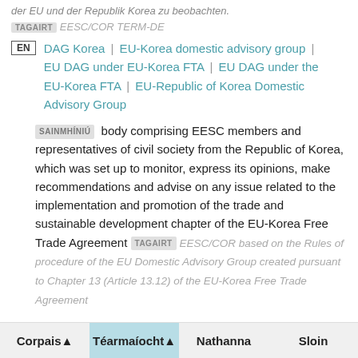TAGAIRT EESC/COR TERM-DE
EN | DAG Korea | EU-Korea domestic advisory group | EU DAG under EU-Korea FTA | EU DAG under the EU-Korea FTA | EU-Republic of Korea Domestic Advisory Group
SAINMHÍNIÚ body comprising EESC members and representatives of civil society from the Republic of Korea, which was set up to monitor, express its opinions, make recommendations and advise on any issue related to the implementation and promotion of the trade and sustainable development chapter of the EU-Korea Free Trade Agreement TAGAIRT EESC/COR based on the Rules of procedure of the EU Domestic Advisory Group created pursuant to Chapter 13 (Article 13.12) of the EU-Korea Free Trade Agreement
Corpais ▲  Téarmaíocht ▲  Nathanna  Sloin